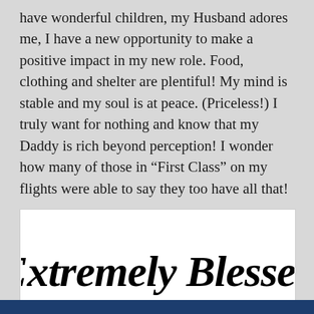have wonderful children, my Husband adores me, I have a new opportunity to make a positive impact in my new role. Food, clothing and shelter are plentiful! My mind is stable and my soul is at peace. (Priceless!) I truly want for nothing and know that my Daddy is rich beyond perception! I wonder how many of those in “First Class” on my flights were able to say they too have all that!
[Figure (illustration): Decorative cursive/tattoo-style script text reading 'Extremely Blessed' in ornate black lettering on a white background.]
The answer is not really my concern. Just feeling grateful not to be phased by labels.